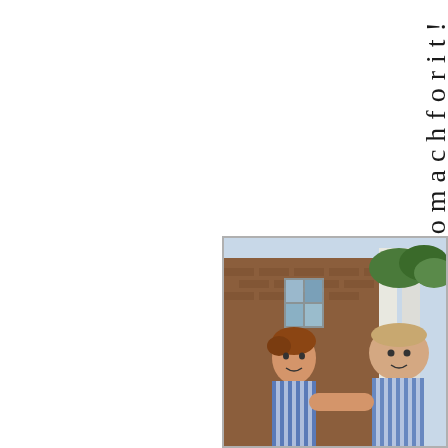avethestomachforit!
[Figure (photo): Two men outdoors in front of a brick building with columns. One has reddish-brown hair and is wearing a striped shirt.]